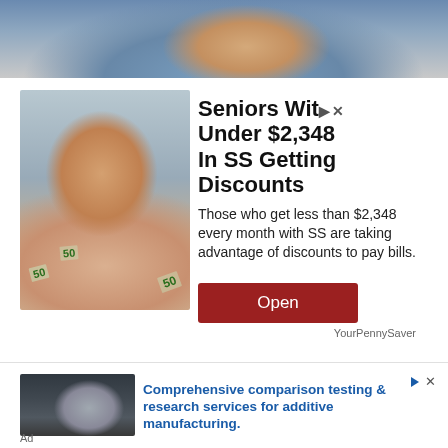[Figure (photo): Top portion of a photo showing a person in a blue denim jacket, partially cropped]
[Figure (photo): Advertisement image: elderly woman with curly hair and glasses holding fanned-out $50 dollar bills]
Seniors With Under $2,348 In SS Getting Discounts
Those who get less than $2,348 every month with SS are taking advantage of discounts to pay bills.
Open
YourPennySaver
[Figure (photo): Advertisement image: person in mask and safety glasses working with industrial/manufacturing equipment]
Comprehensive comparison testing & research services for additive manufacturing.
Ad